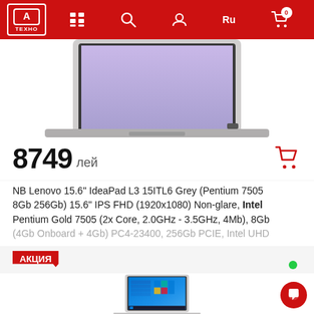[Figure (screenshot): ATehno e-commerce website header with red background, logo, navigation icons (grid, search, profile), language selector Ru, and cart with 0 badge]
[Figure (photo): Lenovo laptop (grey) shown from above, partially cropped at top of product card]
8749 лей
NB Lenovo 15.6" IdeaPad L3 15ITL6 Grey (Pentium 7505 8Gb 256Gb) 15.6" IPS FHD (1920x1080) Non-glare, Intel Pentium Gold 7505 (2x Core, 2.0GHz - 3.5GHz, 4Mb), 8Gb (4Gb Onboard + 4Gb) PC4-23400, 256Gb PCIE, Intel UHD
АКЦИЯ
[Figure (photo): Lenovo laptop with Windows 10 desktop shown on screen, grey color, partially shown in second product card]